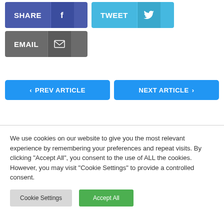[Figure (screenshot): Social share buttons: SHARE (Facebook), TWEET (Twitter), EMAIL button row]
[Figure (screenshot): Navigation buttons: PREV ARTICLE (left) and NEXT ARTICLE (right)]
We use cookies on our website to give you the most relevant experience by remembering your preferences and repeat visits. By clicking "Accept All", you consent to the use of ALL the cookies. However, you may visit "Cookie Settings" to provide a controlled consent.
Cookie Settings | Accept All